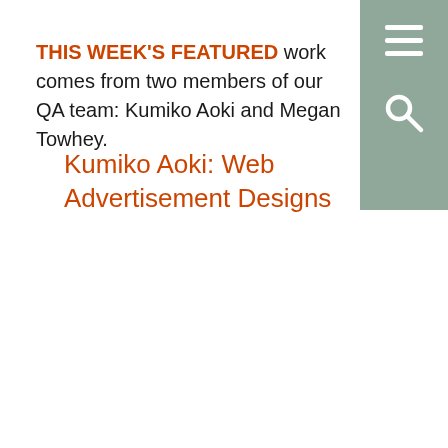THIS WEEK'S FEATURED work comes from two members of our QA team: Kumiko Aoki and Megan Towhey.
Kumiko Aoki: Web Advertisement Designs